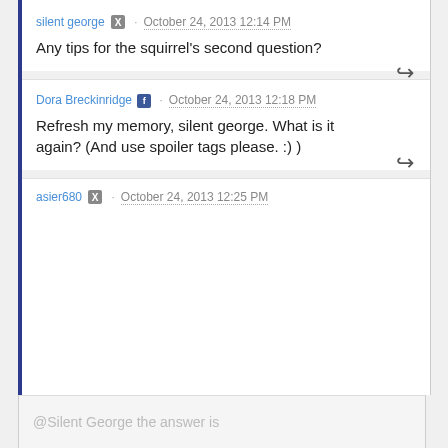silent george · October 24, 2013 12:14 PM
Any tips for the squirrel's second question?
Dora Breckinridge · October 24, 2013 12:18 PM
Refresh my memory, silent george. What is it again? (And use spoiler tags please. :) )
asier680 · October 24, 2013 12:25 PM
@Silent George the answer is